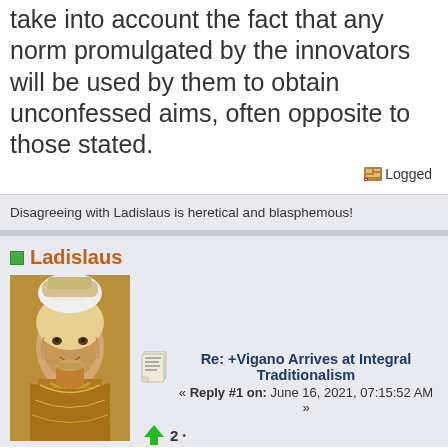take into account the fact that any norm promulgated by the innovators will be used by them to obtain unconfessed aims, often opposite to those stated.
Logged
Disagreeing with Ladislaus is heretical and blasphemous!
Ladislaus
[Figure (photo): Avatar image of a bearded bishop or saint figure wearing a mitre, painted in a classical style with gold tones.]
Re: +Vigano Arrives at Integral Traditionalism « Reply #1 on: June 16, 2021, 07:15:52 AM »
2•